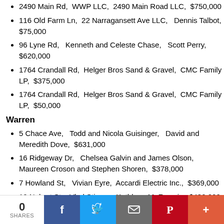2490 Main Rd,  WWP LLC,  2490 Main Road LLC,  $750,000
116 Old Farm Ln,  22 Narragansett Ave LLC,   Dennis Talbot,  $75,000
96 Lyne Rd,   Kenneth and Celeste Chase,   Scott Perry,  $620,000
1764 Crandall Rd,  Helger Bros Sand & Gravel,  CMC Family LP,  $375,000
1764 Crandall Rd,  Helger Bros Sand & Gravel,  CMC Family LP,  $50,000
Warren
5 Chace Ave,   Todd and Nicola Guisinger,   David and Meredith Dove,  $631,000
16 Ridgeway Dr,   Chelsea Galvin and James Olson,  Maureen Croson and Stephen Shoren,  $378,000
7 Howland St,   Vivian Eyre,  Accardi Electric Inc.,  $369,000
10 Nobert St,   Vlad Stinga,   Kathleen M. Francis,  $430,000
0 SHARES | Facebook | Twitter | Email | Pinterest | More